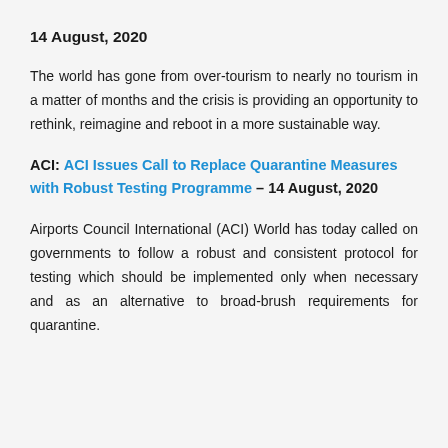14 August, 2020
The world has gone from over-tourism to nearly no tourism in a matter of months and the crisis is providing an opportunity to rethink, reimagine and reboot in a more sustainable way.
ACI: ACI Issues Call to Replace Quarantine Measures with Robust Testing Programme – 14 August, 2020
Airports Council International (ACI) World has today called on governments to follow a robust and consistent protocol for testing which should be implemented only when necessary and as an alternative to broad-brush requirements for quarantine.